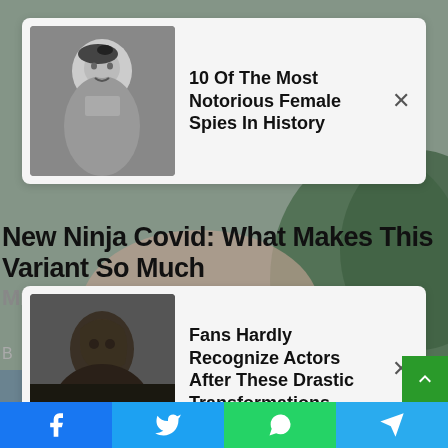[Figure (screenshot): Popup ad card 1: black-and-white photo of a woman in a beret, with headline '10 Of The Most Notorious Female Spies In History' and an X close button]
New Ninja Covid: What Makes This Variant So Much M
ngious?
B
[Figure (screenshot): Popup ad card 2: dark photo of a bald muscular figure, with headline 'Fans Hardly Recognize Actors After These Drastic Transformations' and an X close button]
[Figure (photo): Blurred background photo of a person with beard touching their face with hands raised, wearing blue shirt, outdoor green background]
[Figure (infographic): Bottom social share bar with Facebook, Twitter, WhatsApp, and Telegram buttons]